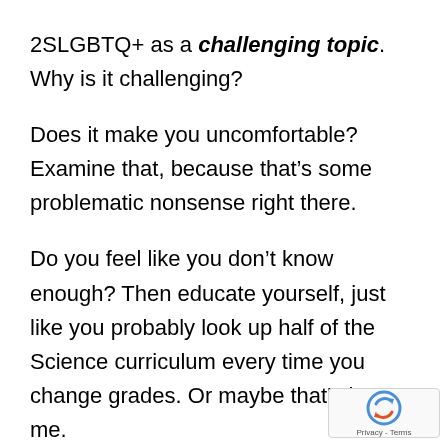2SLGBTQ+ as a challenging topic. Why is it challenging?
Does it make you uncomfortable? Examine that, because that's some problematic nonsense right there.
Do you feel like you don't know enough? Then educate yourself, just like you probably look up half of the Science curriculum every time you change grades. Or maybe that's just me.
Are you scared of having to defend your teac…